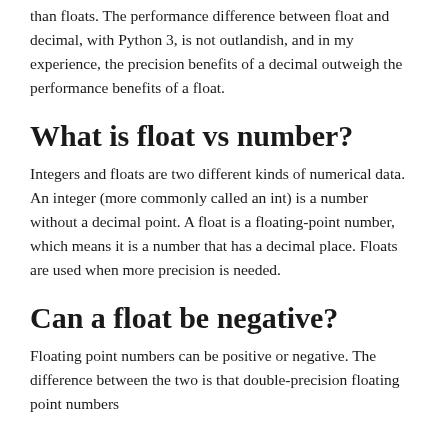than floats. The performance difference between float and decimal, with Python 3, is not outlandish, and in my experience, the precision benefits of a decimal outweigh the performance benefits of a float.
What is float vs number?
Integers and floats are two different kinds of numerical data. An integer (more commonly called an int) is a number without a decimal point. A float is a floating-point number, which means it is a number that has a decimal place. Floats are used when more precision is needed.
Can a float be negative?
Floating point numbers can be positive or negative. The difference between the two is that double-precision floating point numbers